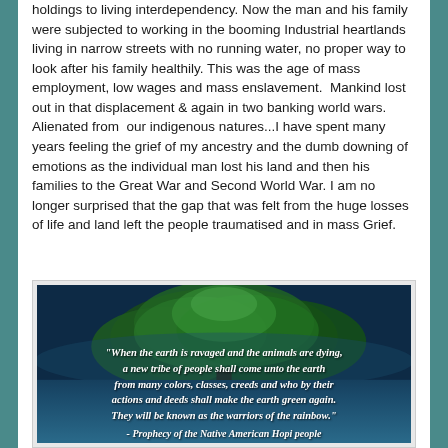holdings to living interdependency. Now the man and his family were subjected to working in the booming Industrial heartlands  living in narrow streets with no running water, no proper way to look after his family healthily. This was the age of mass employment, low wages and mass enslavement.  Mankind lost out in that displacement & again in two banking world wars. Alienated from  our indigenous natures...I have spent many years feeling the grief of my ancestry and the dumb downing of emotions as the individual man lost his land and then his families to the Great War and Second World War. I am no longer surprised that the gap that was felt from the huge losses of life and land left the people traumatised and in mass Grief.
[Figure (photo): Dark blue background image with a tree silhouette and italic bold white text quote: "When the earth is ravaged and the animals are dying, a new tribe of people shall come unto the earth from many colors, classes, creeds and who by their actions and deeds shall make the earth green again. They will be known as the warriors of the rainbow." - Prophecy of the Native American Hopi people]